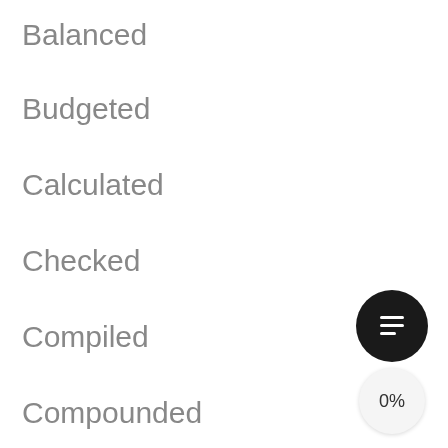Balanced
Budgeted
Calculated
Checked
Compiled
Compounded
Computed
Concurred